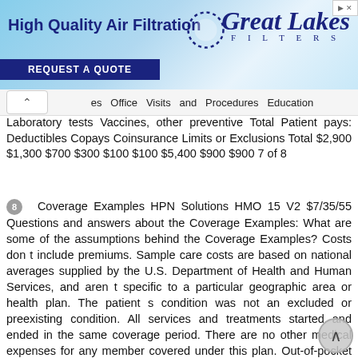[Figure (photo): Advertisement banner for Great Lakes Filters featuring 'High Quality Air Filtration' text and a 'Request a Quote' button on a blue sky background]
es  Office  Visits  and  Procedures  Education Laboratory tests Vaccines, other preventive Total Patient pays: Deductibles Copays Coinsurance Limits or Exclusions Total $2,900 $1,300 $700 $300 $100 $100 $5,400 $900 $900 7 of 8
8  Coverage Examples HPN Solutions HMO 15 V2 $7/35/55 Questions and answers about the Coverage Examples: What are some of the assumptions behind the Coverage Examples? Costs don t include premiums. Sample care costs are based on national averages supplied by the U.S. Department of Health and Human Services, and aren t specific to a particular geographic area or health plan. The patient s condition was not an excluded or preexisting condition. All services and treatments started and ended in the same coverage period. There are no other medical expenses for any member covered under this plan. Out-of-pocket expenses are based only on treating the condition in the example. The patient received